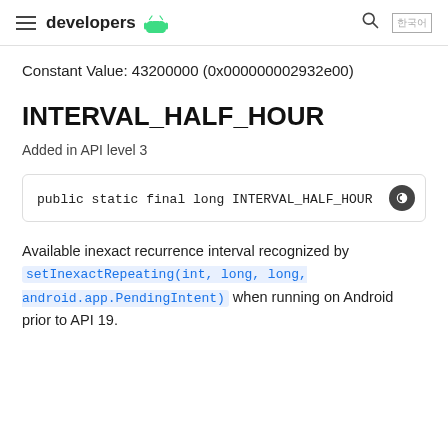developers [android logo]
Constant Value: 43200000 (0x000000002932e00)
INTERVAL_HALF_HOUR
Added in API level 3
public static final long INTERVAL_HALF_HOUR
Available inexact recurrence interval recognized by setInexactRepeating(int, long, long, android.app.PendingIntent) when running on Android prior to API 19.